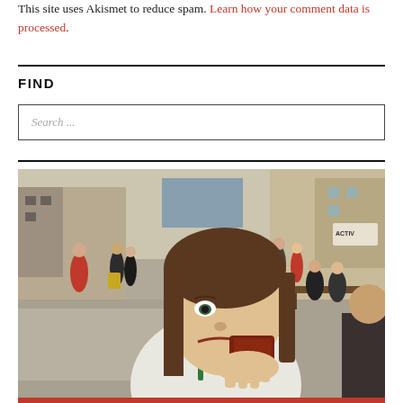This site uses Akismet to reduce spam. Learn how your comment data is processed.
FIND
[Figure (other): Search input box with placeholder text 'Search ...']
[Figure (photo): A young woman eating food at an outdoor street market. People and urban buildings visible in the background.]